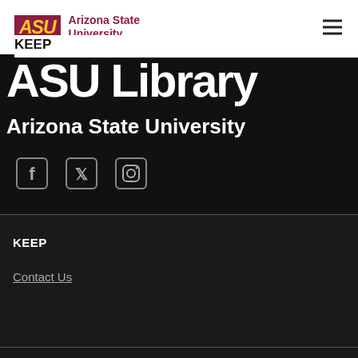[Figure (logo): ASU Arizona State University logo with maroon block letters and gold sun graphic]
KEEP
[Figure (screenshot): ASU Library header banner with white text 'ASU Library' and 'Arizona State University' on black background]
[Figure (infographic): Social media icons: Facebook, Twitter, Instagram in grey square outlines on black background]
KEEP
Contact Us